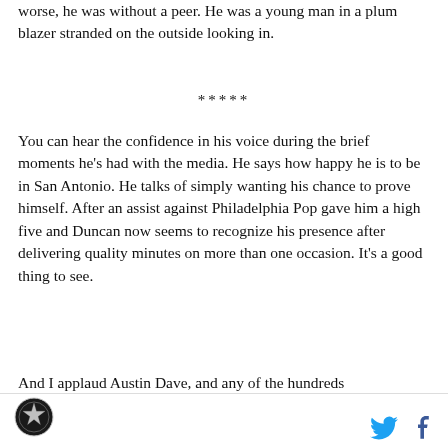removed from the superstars (Tim, Tony, Manu) — but worse, he was without a peer. He was a young man in a plum blazer stranded on the outside looking in.
*****
You can hear the confidence in his voice during the brief moments he's had with the media. He says how happy he is to be in San Antonio. He talks of simply wanting his chance to prove himself. After an assist against Philadelphia Pop gave him a high five and Duncan now seems to recognize his presence after delivering quality minutes on more than one occasion. It's a good thing to see.
And I applaud Austin Dave, and any of the hundreds